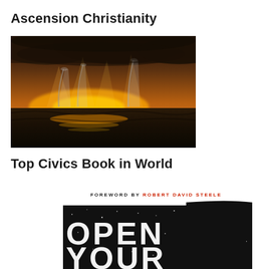Ascension Christianity
[Figure (photo): Dramatic photo of waterspouts over ocean at sunset with golden orange sky and storm clouds]
Top Civics Book in World
[Figure (photo): Book cover with text 'FOREWORD BY ROBERT DAVID STEELE' and large stylized text 'OPEN YOUR' on a dark curved background with stars]